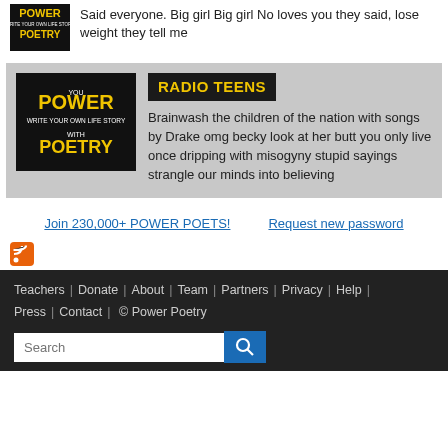[Figure (photo): Power Poetry logo/book cover image, dark background with yellow and white text]
Said everyone.  Big girl  Big girl No loves you they said, lose weight they tell me
[Figure (photo): Power Poetry logo/book cover image, dark background with yellow POWER and white POETRY text]
RADIO TEENS
Brainwash the children of the nation with songs by Drake  omg becky look at her butt you only live once dripping with misogyny  stupid sayings  strangle our minds into believing
Join 230,000+ POWER POETS!
Request new password
[Figure (logo): RSS feed orange icon]
Teachers | Donate | About | Team | Partners | Privacy | Help | Press | Contact | © Power Poetry